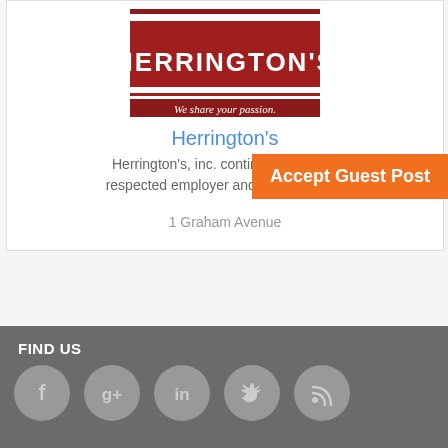[Figure (logo): Herrington's logo — dark red background with white text 'HERRINGTON'S' and tagline 'We share your passion.']
Herrington's
Herrington's, inc. continues a traditio... respected employer and trusted prov...
1 Graham Avenue
Accept Guest Post
FIND US
[Figure (illustration): Social media icons row: Facebook, Google+, LinkedIn, Twitter, RSS]